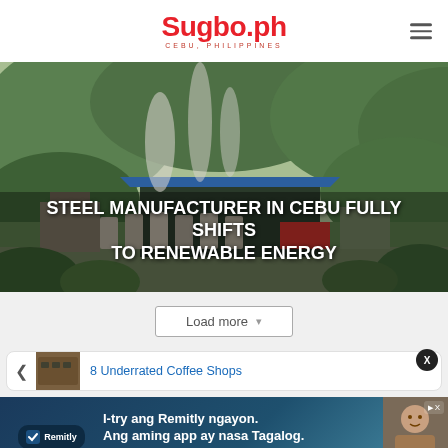Sugbo.ph — CEBU, PHILIPPINES
[Figure (photo): Aerial/ground view of a geothermal or industrial plant surrounded by lush green forested hills with steam rising from structures. Blue-roofed building and cylindrical tanks visible.]
STEEL MANUFACTURER IN CEBU FULLY SHIFTS TO RENEWABLE ENERGY
Load more
8 Underrated Coffee Shops
[Figure (infographic): Remitly advertisement banner. Text: I-try ang Remitly ngayon. Ang aming app ay nasa Tagalog. Shows Remitly logo, App Store and Google Play badges, and a smiling person.]